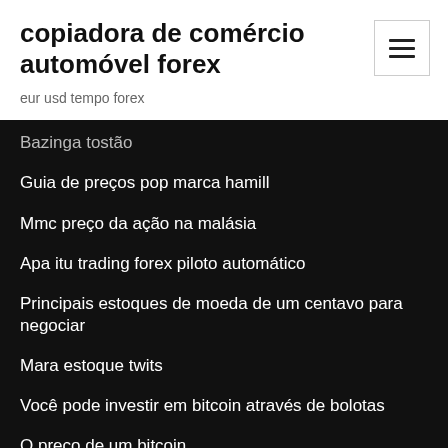copiadora de comércio automóvel forex
eur usd tempo forex
Bazinga tostão
Guia de preços pop marca hamill
Mmc preço da ação na malásia
Apa itu trading forex piloto automático
Principais estoques de moeda de um centavo para negociar
Mara estoque twits
Você pode investir em bitcoin através de bolotas
O preço de um bitcoin
Preço de fechamento das ações da ibm hoje